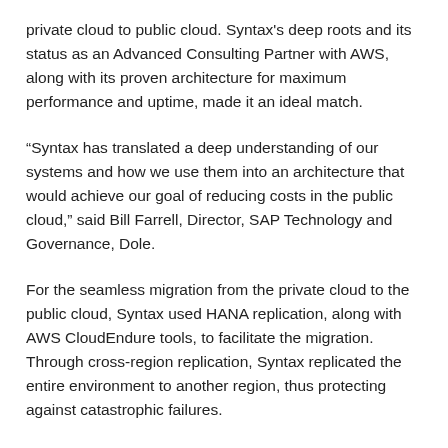private cloud to public cloud. Syntax's deep roots and its status as an Advanced Consulting Partner with AWS, along with its proven architecture for maximum performance and uptime, made it an ideal match.
“Syntax has translated a deep understanding of our systems and how we use them into an architecture that would achieve our goal of reducing costs in the public cloud,” said Bill Farrell, Director, SAP Technology and Governance, Dole.
For the seamless migration from the private cloud to the public cloud, Syntax used HANA replication, along with AWS CloudEndure tools, to facilitate the migration. Through cross-region replication, Syntax replicated the entire environment to another region, thus protecting against catastrophic failures.
“The Syntax team persevered at all levels, taking on multiple technical challenges to get there,” said Farrell. “The biggest thing going forward is to take advantage of the technology and innovation